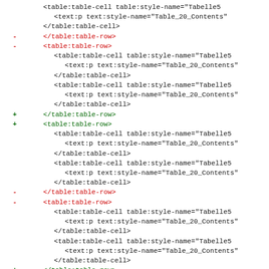Code diff showing XML/ODF table markup with additions and deletions
<table:table-cell table:style-name="Tabelle5
  <text:p text:style-name="Table_20_Contents"
  </table:table-cell>
- </table:table-row>
- <table:table-row>
  <table:table-cell table:style-name="Tabelle5
  <text:p text:style-name="Table_20_Contents"
  </table:table-cell>
  <table:table-cell table:style-name="Tabelle5
  <text:p text:style-name="Table_20_Contents"
  </table:table-cell>
+   </table:table-row>
+   <table:table-row>
  <table:table-cell table:style-name="Tabelle5
  <text:p text:style-name="Table_20_Contents"
  </table:table-cell>
  <table:table-cell table:style-name="Tabelle5
  <text:p text:style-name="Table_20_Contents"
  </table:table-cell>
- </table:table-row>
- <table:table-row>
  <table:table-cell table:style-name="Tabelle5
  <text:p text:style-name="Table_20_Contents"
  </table:table-cell>
  <table:table-cell table:style-name="Tabelle5
  <text:p text:style-name="Table_20_Contents"
  </table:table-cell>
+   </table:table-row>
+   <table:table-row>
  <table:table-cell table:style-name="Tabelle5